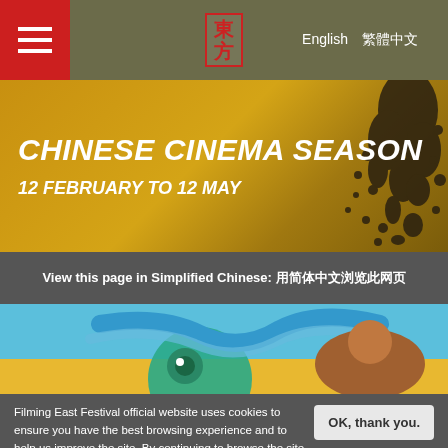≡  東方  English  繁體中文
CHINESE CINEMA SEASON
12 FEBRUARY TO 12 MAY
View this page in Simplified Chinese: 用简体中文浏览此网页
[Figure (illustration): Colorful cartoon illustration showing animated characters with blue sky and yellow background]
Filming East Festival official website uses cookies to ensure you have the best browsing experience and to help us improve the site. By continuing to browse the site you are agreeing to our use of cookies. Find out more.